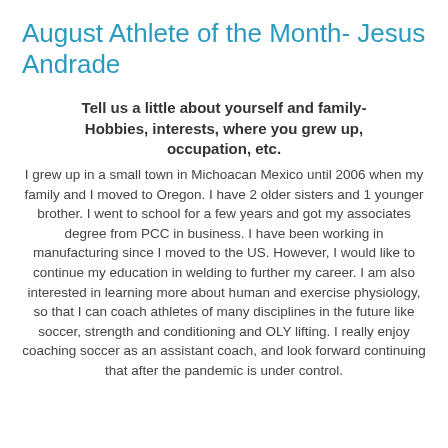August Athlete of the Month- Jesus Andrade
Tell us a little about yourself and family- Hobbies, interests, where you grew up, occupation, etc.
I grew up in a small town in Michoacan Mexico until 2006 when my family and I moved to Oregon. I have 2 older sisters and 1 younger brother. I went to school for a few years and got my associates degree from PCC in business. I have been working in manufacturing since I moved to the US. However, I would like to continue my education in welding to further my career. I am also interested in learning more about human and exercise physiology, so that I can coach athletes of many disciplines in the future like soccer, strength and conditioning and OLY lifting. I really enjoy coaching soccer as an assistant coach, and look forward continuing that after the pandemic is under control.